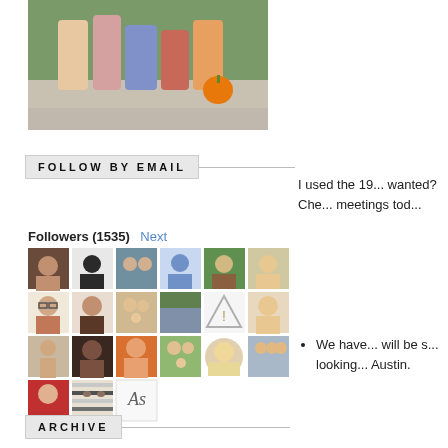[Figure (photo): Group photo of people in Halloween costumes outdoors, with a pumpkin visible]
FOLLOW BY EMAIL
Followers (1535) Next
[Figure (photo): Grid of 21 follower avatar thumbnails]
I used the 19... wanted? Che... meetings tod...
We have... will be s... looking... Austin.
ARCHIVE